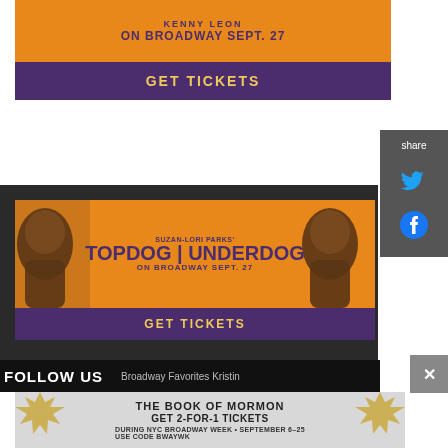[Figure (advertisement): Top ad banner for Topdog/Underdog on Broadway by Kenny Leon. Orange section with 'KENNY LEON' and 'ON BROADWAY SEPT. 27', purple section with 'GET TICKETS']
[Figure (infographic): Share panel with Twitter and Facebook icons on dark grey background]
[Figure (advertisement): Suzan-Lori Parks' TOPDOG | UNDERDOG Broadway advertisement. Orange background with two face silhouettes, purple 'GET TICKETS' bar at bottom. Text: 'SUZAN-LORI PARKS' TOPDOG | UNDERDOG ON BROADWAY SEPT. 27 GET TICKETS']
FOLLOW US
Broadway Favorites Kristin
[Figure (advertisement): The Book of Mormon advertisement: 'THE BOOK OF MORMON GET 2-FOR-1 TICKETS DURING NYC BROADWAY WEEK • SEPTEMBER 6-25 USE CODE BWAYWK GET TICKETS']